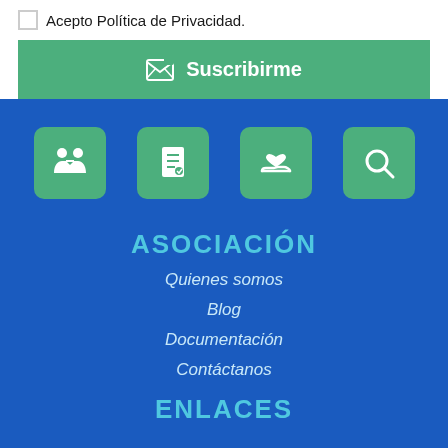Acepto Política de Privacidad.
Suscribirme
[Figure (infographic): Four green icon buttons in a row: people/handshake icon, document icon, heart-in-hand icon, search/magnifying glass icon]
ASOCIACIÓN
Quienes somos
Blog
Documentación
Contáctanos
ENLACES